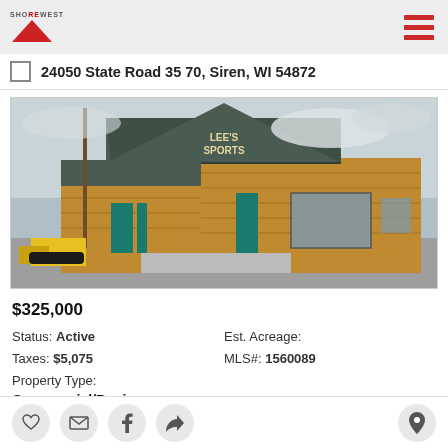Shorewest
24050 State Road 35 70, Siren, WI 54872
[Figure (photo): Exterior photo of Lee's Sports commercial building - a wood-sided building with dark green metal roof, teal doors, large windows, and a yellow snowplow parked outside.]
$325,000
Status: Active
Taxes: $5,075
Property Type:
Commercial/Business
Est. Acreage:
MLS#: 1560089